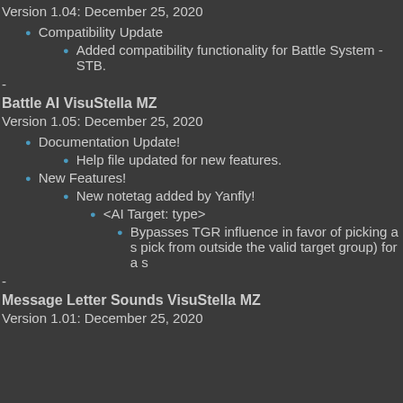Version 1.04: December 25, 2020
Compatibility Update
Added compatibility functionality for Battle System - STB.
-
Battle AI VisuStella MZ
Version 1.05: December 25, 2020
Documentation Update!
Help file updated for new features.
New Features!
New notetag added by Yanfly!
<AI Target: type>
Bypasses TGR influence in favor of picking a s pick from outside the valid target group) for a s
-
Message Letter Sounds VisuStella MZ
Version 1.01: December 25, 2020